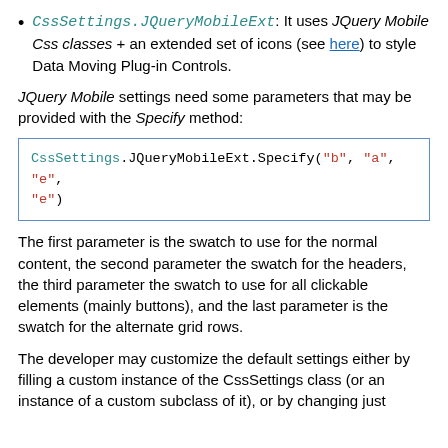CssSettings.JQueryMobileExt: It uses JQuery Mobile Css classes + an extended set of icons (see here) to style Data Moving Plug-in Controls.
JQuery Mobile settings need some parameters that may be provided with the Specify method:
CssSettings.JQueryMobileExt.Specify("b", "a", "e", "e")
The first parameter is the swatch to use for the normal content, the second parameter the swatch for the headers, the third parameter the swatch to use for all clickable elements (mainly buttons), and the last parameter is the swatch for the alternate grid rows.
The developer may customize the default settings either by filling a custom instance of the CssSettings class (or an instance of a custom subclass of it), or by changing just